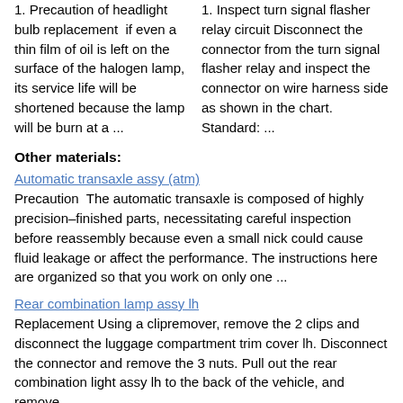1. Precaution of headlight bulb replacement  if even a thin film of oil is left on the surface of the halogen lamp, its service life will be shortened because the lamp will be burn at a ...
1. Inspect turn signal flasher relay circuit Disconnect the connector from the turn signal flasher relay and inspect the connector on wire harness side as shown in the chart. Standard: ...
Other materials:
Automatic transaxle assy (atm)
Precaution  The automatic transaxle is composed of highly precision–finished parts, necessitating careful inspection before reassembly because even a small nick could cause fluid leakage or affect the performance. The instructions here are organized so that you work on only one ...
Rear combination lamp assy lh
Replacement Using a clipremover, remove the 2 clips and disconnect the luggage compartment trim cover lh. Disconnect the connector and remove the 3 nuts. Pull out the rear combination light assy lh to the back of the vehicle, and remove. ...
Inspection
1. Fuel injector assy Inspect injector resistance.  Using an ohmmeter,measure the resistance between the terminals. Resistance: